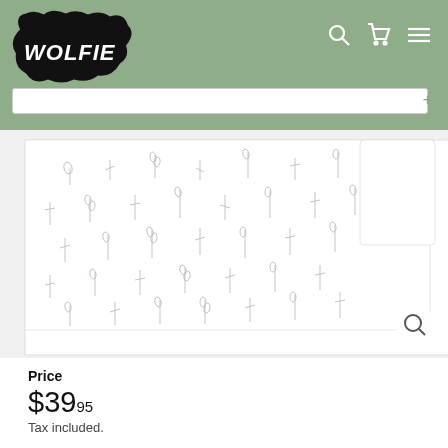WOLFIE — store header with logo, search, cart, and menu icons
[Figure (photo): White baby blanket with small scattered botanical/plant print pattern, folded and displayed flat, with a smaller folded piece in the upper right corner]
Price
$39.95
Tax included.